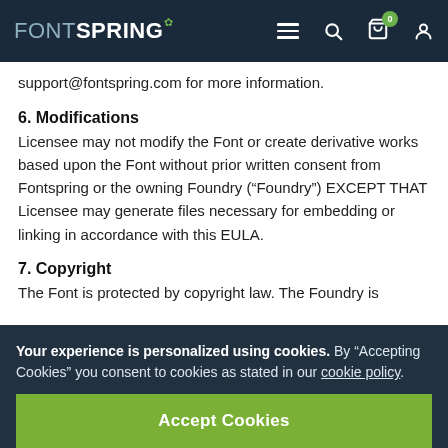FONTSPRING
support@fontspring.com for more information.
6. Modifications
Licensee may not modify the Font or create derivative works based upon the Font without prior written consent from Fontspring or the owning Foundry ("Foundry") EXCEPT THAT Licensee may generate files necessary for embedding or linking in accordance with this EULA.
7. Copyright
The Font is protected by copyright law. The Foundry is
Your experience is personalized using cookies. By "Accepting Cookies" you consent to cookies as stated in our cookie policy.
Accept Cookies